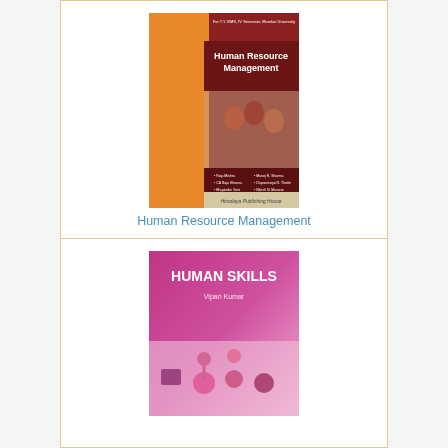[Figure (photo): Book cover of Human Resource Management by Himalaya Publishing House, orange and dark red design with paper figures]
Human Resource Management
Prof. Rajiv Mishra
[Figure (photo): Book cover of Human Skills by Vipan Kumar, pink/magenta design with human figure icons]